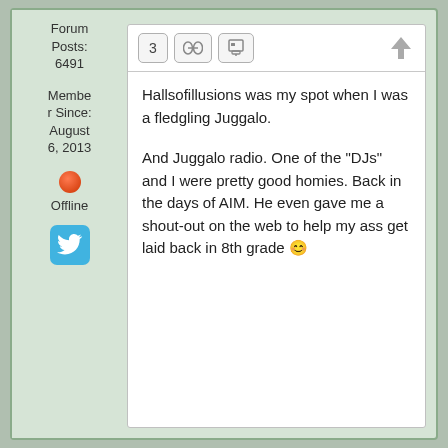Forum Posts: 6491
Member Since: August 6, 2013
Offline
[Figure (illustration): Twitter bird icon button, blue rounded square]
3
Hallsofillusions was my spot when I was a fledgling Juggalo.
And Juggalo radio. One of the "DJs" and I were pretty good homies. Back in the days of AIM. He even gave me a shout-out on the web to help my ass get laid back in 8th grade 😊